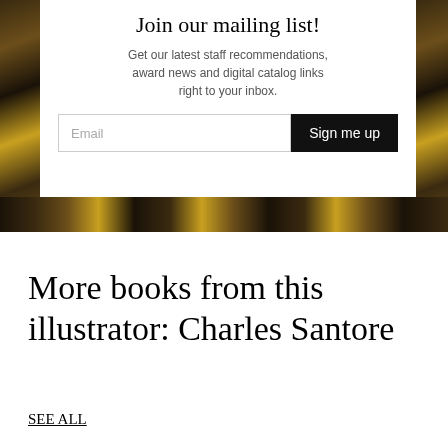Join our mailing list!
Get our latest staff recommendations, award news and digital catalog links right to your inbox.
Email  Sign me up
More books from this illustrator: Charles Santore
SEE ALL